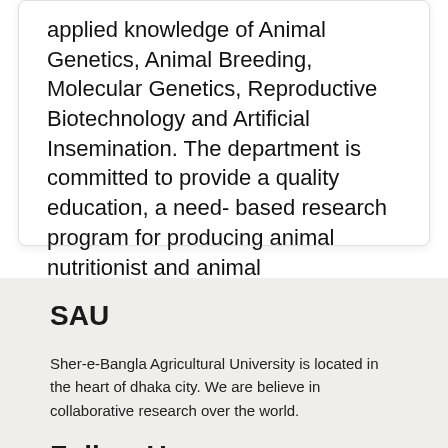applied knowledge of Animal Genetics, Animal Breeding, Molecular Genetics, Reproductive Biotechnology and Artificial Insemination. The department is committed to provide a quality education, a need- based research program for producing animal nutritionist and animal biotechnologists for local and global job market.
SAU
Sher-e-Bangla Agricultural University is located in the heart of dhaka city. We are believe in collaborative research over the world.
Follow Us